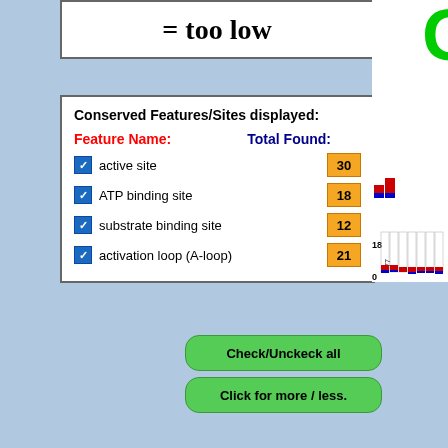[Figure (screenshot): Box showing '= too low' text indicating a threshold label]
Conserved Features/Sites displayed:
Feature Name:    Total Found:
active site   30
ATP binding site   18
substrate binding site   12
activation loop (A-loop)   21
[Figure (screenshot): Check/Uncheck all button (green pill-shaped button)]
[Figure (screenshot): Click for more/less button (green pill-shaped button)]
[Figure (screenshot): Download the Result of this Query button (blue rectangle)]
[Figure (other): Sequence logo visualization showing amino acid conservation at positions 77-84 with colored letters and conservation bar chart below]
[Figure (other): Sequence logo visualization showing amino acid conservation at positions 115-122 with large colored letters Q, V, K, Y, M and conservation bar chart]